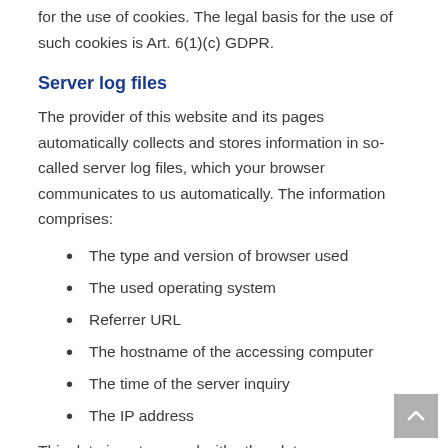for the use of cookies. The legal basis for the use of such cookies is Art. 6(1)(c) GDPR.
Server log files
The provider of this website and its pages automatically collects and stores information in so-called server log files, which your browser communicates to us automatically. The information comprises:
The type and version of browser used
The used operating system
Referrer URL
The hostname of the accessing computer
The time of the server inquiry
The IP address
This data is not merged with other data sources.